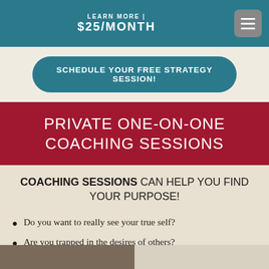[Figure (screenshot): Teal navigation banner with 'LEARN MORE | $25/MONTH' text in white and a hamburger menu icon on the right]
[Figure (screenshot): Teal rounded button with text 'SCHEDULE YOUR FREE STRATEGY SESSION!']
PRIVATE ONE-ON-ONE COACHING SESSIONS
COACHING SESSIONS CAN HELP YOU FIND YOUR PURPOSE!
Do you want to really see your true self?
Are you trapped in the desires of others?
Would you like to find your passion?
Do you dream of financial freedom?
[Figure (photo): Partial photo strip at the bottom of the page]